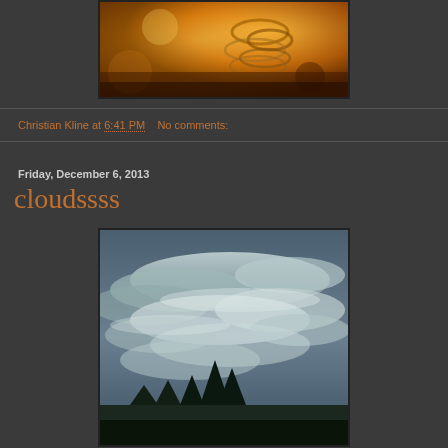[Figure (photo): Close-up macro photo with golden/orange warm tones, showing blurred metallic or organic spiraling forms against a yellow-orange background]
Christian Kline at 6:41 PM   No comments:
Friday, December 6, 2013
cloudssss
[Figure (photo): Photo of a cloudy sky with dramatic grey-blue clouds and dark tree silhouettes visible at the bottom]